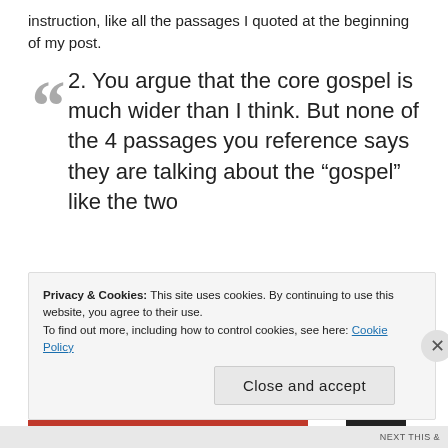instruction, like all the passages I quoted at the beginning of my post.
2. You argue that the core gospel is much wider than I think. But none of the 4 passages you reference says they are talking about the “gospel” like the two
Privacy & Cookies: This site uses cookies. By continuing to use this website, you agree to their use.
To find out more, including how to control cookies, see here: Cookie Policy
Close and accept